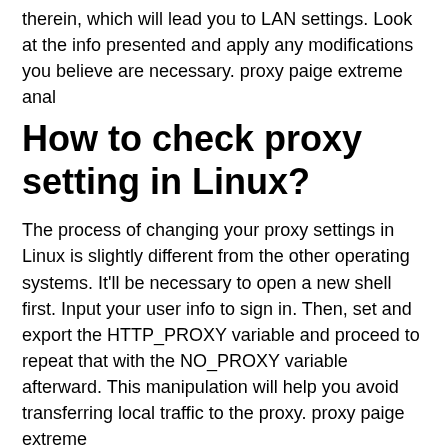therein, which will lead you to LAN settings. Look at the info presented and apply any modifications you believe are necessary. proxy paige extreme anal
How to check proxy setting in Linux?
The process of changing your proxy settings in Linux is slightly different from the other operating systems. It'll be necessary to open a new shell first. Input your user info to sign in. Then, set and export the HTTP_PROXY variable and proceed to repeat that with the NO_PROXY variable afterward. This manipulation will help you avoid transferring local traffic to the proxy. proxy paige extreme
How does a proxy server differ from a packet filtering firewall?
Both proxy servers and filtering firewalls are able to